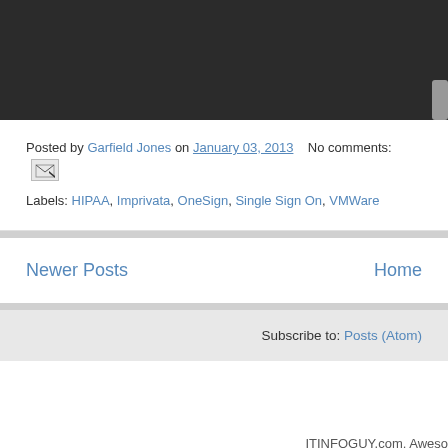[Figure (screenshot): Dark/black banner area at the top of the page, partial blog post image]
Posted by Garfield Jones on January 03, 2013   No comments:
Labels: HIPAA, Imprivata, OneSign, Single Sign On, VMWare
Newer Posts   Home
Subscribe to: Posts (Atom)
ITINFOGUY.com. Aweso